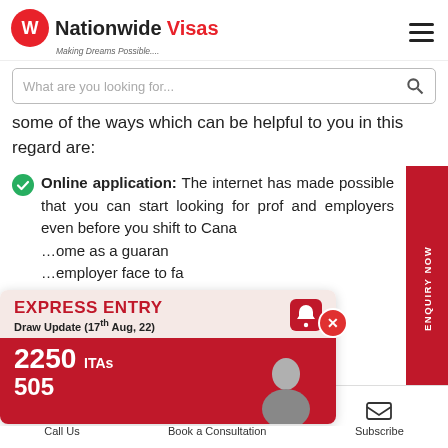[Figure (logo): Nationwide Visas logo with red circle icon and tagline 'Making Dreams Possible....']
[Figure (screenshot): Search bar with placeholder text 'What are you looking for...' and a search icon]
some of the ways which can be helpful to you in this regard are:
Online application: The internet has made possible that you can start looking for prof and employers even before you shift to Cana ..ome as a guaran ..employer face to face ..nada.
[Figure (infographic): Express Entry Draw Update popup - 17th Aug, 22 - 2250 ITAs, 505 - with person image and close button]
Call Us   Book a Consultation   Subscribe